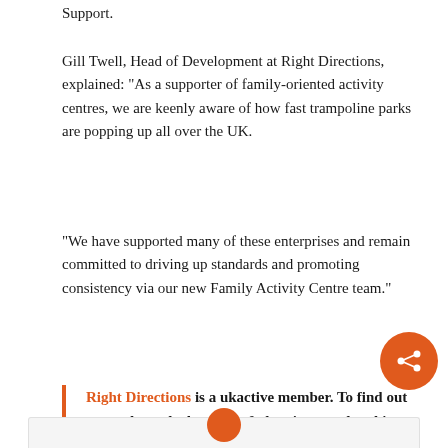Support.
Gill Twell, Head of Development at Right Directions, explained: "As a supporter of family-oriented activity centres, we are keenly aware of how fast trampoline parks are popping up all over the UK.
"We have supported many of these enterprises and remain committed to driving up standards and promoting consistency via our new Family Activity Centre team."
Right Directions is a ukactive member. To find out more about the benefits of ukactive membership, click here.